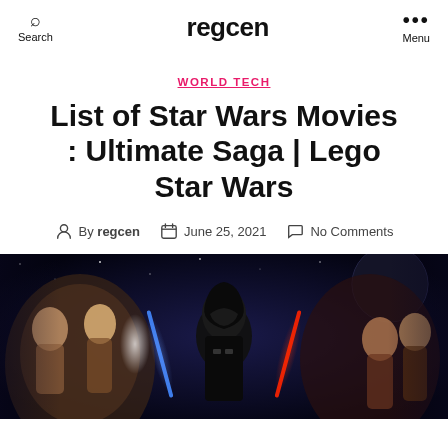Search | regcen | Menu
WORLD TECH
List of Star Wars Movies : Ultimate Saga | Lego Star Wars
By regcen   June 25, 2021   No Comments
[Figure (photo): Star Wars movie collage showing characters including Darth Vader, various heroes and villains from the Star Wars saga against a dark space background]